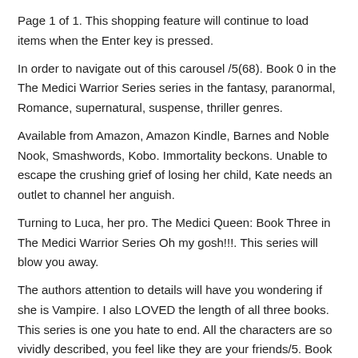Page 1 of 1. This shopping feature will continue to load items when the Enter key is pressed.
In order to navigate out of this carousel /5(68). Book 0 in the The Medici Warrior Series series in the fantasy, paranormal, Romance, supernatural, suspense, thriller genres.
Available from Amazon, Amazon Kindle, Barnes and Noble Nook, Smashwords, Kobo. Immortality beckons. Unable to escape the crushing grief of losing her child, Kate needs an outlet to channel her anguish.
Turning to Luca, her pro. The Medici Queen: Book Three in The Medici Warrior Series Oh my gosh!!!. This series will blow you away.
The authors attention to details will have you wondering if she is Vampire. I also LOVED the length of all three books. This series is one you hate to end. All the characters are so vividly described, you feel like they are your friends/5. Book 1 in the The Medici Warrior Series series in the Action/Adventure, fantasy, paranormal, Romance, supernatural, suspense, thriller genres.